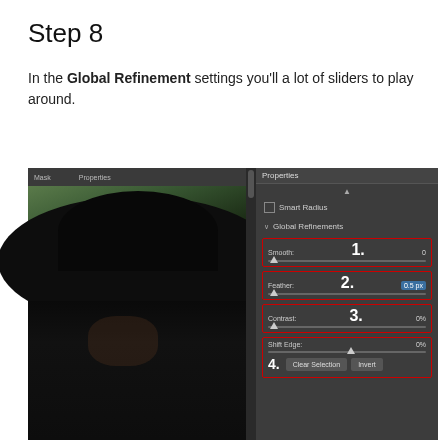Step 8
In the Global Refinement settings you'll a lot of sliders to play around.
[Figure (screenshot): Photoshop screenshot showing a woman wearing a black hat on the left, and the Properties panel on the right with Global Refinements section open, showing numbered sliders: 1. Smooth (0), 2. Feather (0.5 px), 3. Contrast (0%), 4. Shift Edge (0%) with Clear Selection and Invert buttons, all highlighted with red borders.]